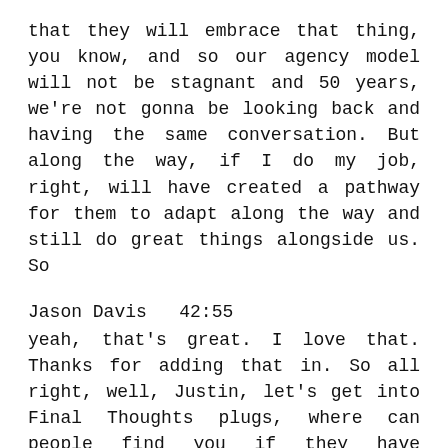that they will embrace that thing, you know, and so our agency model will not be stagnant and 50 years, we're not gonna be looking back and having the same conversation. But along the way, if I do my job, right, will have created a pathway for them to adapt along the way and still do great things alongside us. So
Jason Davis  42:55
yeah, that's great. I love that. Thanks for adding that in. So all right, well, Justin, let's get into Final Thoughts plugs, where can people find you if they have questions?
Justin Eggar  43:04
Yes, well, thank you. I'm on LinkedIn, Justin, EGGAR Feel free to connect with me I you know, I love having a lot of great connections. And you'll see I often referenced by my